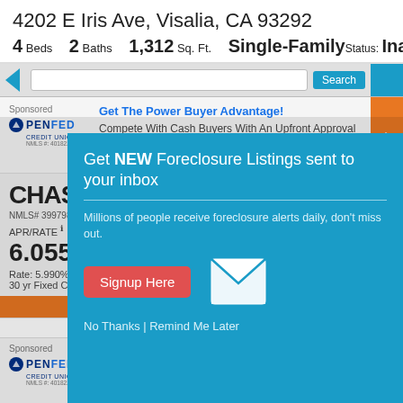4202 E Iris Ave, Visalia, CA 93292
4 Beds  2 Baths  1,312 Sq. Ft.  Single-Family  Status: Inactive
[Figure (screenshot): Navigation bar with blue arrow, address input field, and blue search button with orange accent tab]
[Figure (screenshot): PenFed Credit Union sponsored ad: Get The Power Buyer Advantage! Compete With Cash Buyers With An Upfront Approval]
[Figure (screenshot): Chase bank ad showing NMLS# 399798, APR/RATE 6.055%, Rate: 5.990%, 30 yr Fixed Conforming]
[Figure (screenshot): Modal popup: Get NEW Foreclosure Listings sent to your inbox. Millions of people receive foreclosure alerts daily, don't miss out. Signup Here button. No Thanks | Remind Me Later]
[Figure (screenshot): Second PenFed Credit Union sponsored ad partially visible: No Lender Fees and No to Low Down Payment]